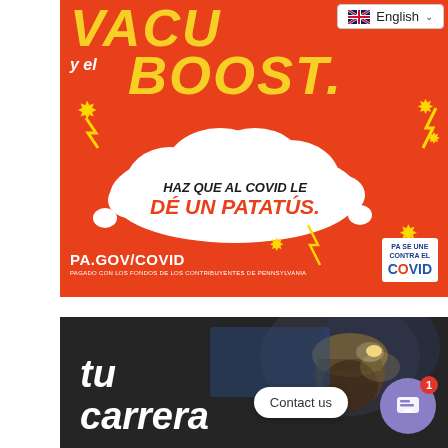[Figure (infographic): Spanish-language COVID vaccination ad on orange background. Text reads 'VACU... y el BOOST. HAZ QUE AL COVID LE DÉ UN PATATÚS.' with cloud speech bubble. Footer: PA.GOV/COVID and PAGADO CON LOS FONDOS DE LOS CONTRIBUYENTES DE PENNSYLVANIA. PA SE UNE CONTRA EL COVID logo. English language selector visible at top right.]
[Figure (photo): Dark photo of a worker/miner with headlamp, with Spanish text 'tu carrera' overlaid in large white bold italic font. A 'Contact us' chat bubble and purple chat button with notification badge (1) visible in bottom right.]